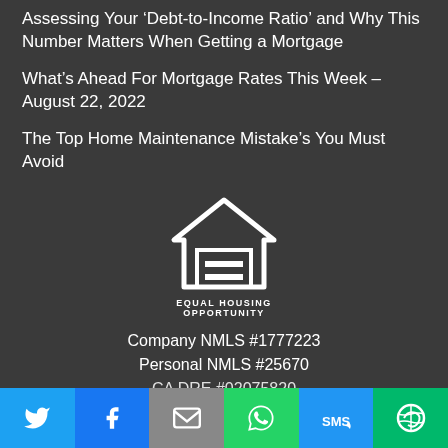Assessing Your ‘Debt-to-Income Ratio’ and Why This Number Matters When Getting a Mortgage
What’s Ahead For Mortgage Rates This Week – August 22, 2022
The Top Home Maintenance Mistake’s You Must Avoid
[Figure (logo): Equal Housing Opportunity logo: white house outline with an equals sign inside, above text EQUAL HOUSING OPPORTUNITY]
Company NMLS #1777223
Personal NMLS #25670
CA DRE #02075820
Twitter | Facebook | Email | WhatsApp | SMS | More